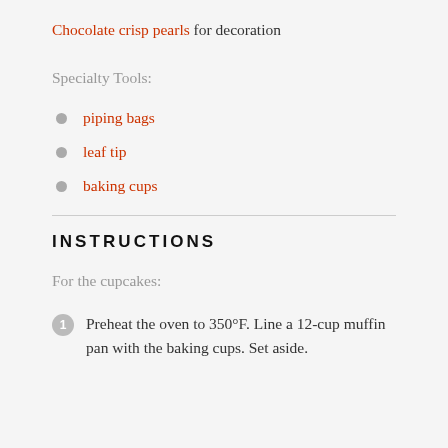Chocolate crisp pearls for decoration
Specialty Tools:
piping bags
leaf tip
baking cups
INSTRUCTIONS
For the cupcakes:
Preheat the oven to 350°F. Line a 12-cup muffin pan with the baking cups. Set aside.